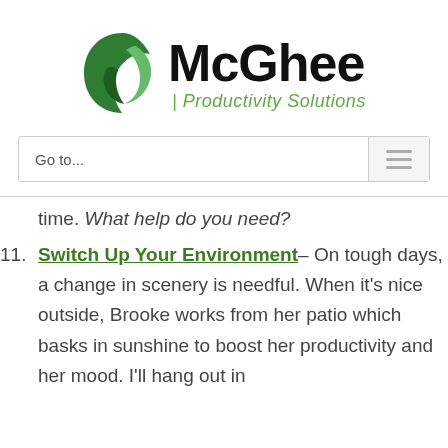[Figure (logo): McGhee Productivity Solutions logo with green swirl icon and bold black McGhee text with green italic 'Productivity Solutions' subtitle]
Go to...
time. What help do you need?
11. Switch Up Your Environment – On tough days, a change in scenery is needful. When it's nice outside, Brooke works from her patio which basks in sunshine to boost her productivity and her mood. I'll hang out in